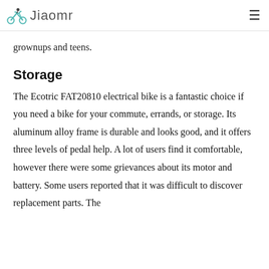Jiaomr
grownups and teens.
Storage
The Ecotric FAT20810 electrical bike is a fantastic choice if you need a bike for your commute, errands, or storage. Its aluminum alloy frame is durable and looks good, and it offers three levels of pedal help. A lot of users find it comfortable, however there were some grievances about its motor and battery. Some users reported that it was difficult to discover replacement parts. The fol...